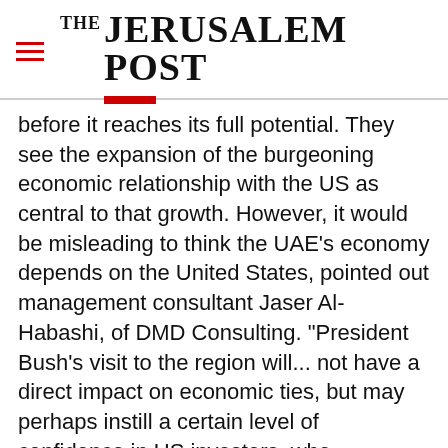THE JERUSALEM POST
before it reaches its full potential. They see the expansion of the burgeoning economic relationship with the US as central to that growth. However, it would be misleading to think the UAE's economy depends on the United States, pointed out management consultant Jaser Al-Habashi, of DMD Consulting. "President Bush's visit to the region will... not have a direct impact on economic ties, but may perhaps instill a certain level of confidence in US investors. who
Advertisement